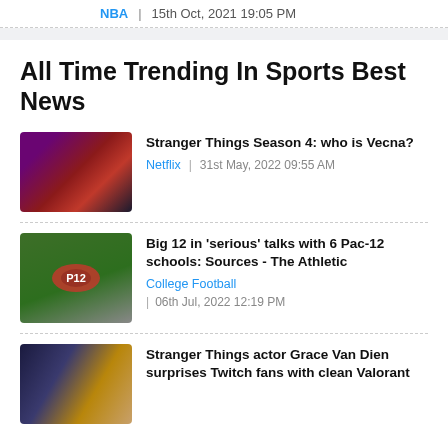NBA | 15th Oct, 2021 19:05 PM
All Time Trending In Sports Best News
Stranger Things Season 4: who is Vecna?
Netflix | 31st May, 2022 09:55 AM
Big 12 in 'serious' talks with 6 Pac-12 schools: Sources - The Athletic
College Football | 06th Jul, 2022 12:19 PM
Stranger Things actor Grace Van Dien surprises Twitch fans with clean Valorant